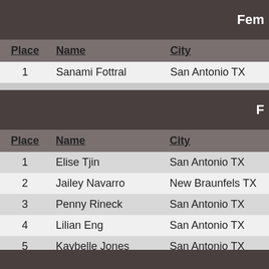Fe
| Place | Name | City |
| --- | --- | --- |
| 1 | Sanami Fottral | San Antonio TX |
F
| Place | Name | City |
| --- | --- | --- |
| 1 | Elise Tjin | San Antonio TX |
| 2 | Jailey Navarro | New Braunfels TX |
| 3 | Penny Rineck | San Antonio TX |
| 4 | Lilian Eng | San Antonio TX |
| 5 | Kaybelle Jones | San Antonio TX |
| 6 | Ellie Roggia | San Antonio TX |
| 7 | Lianna Scharich | San Antonio TX |